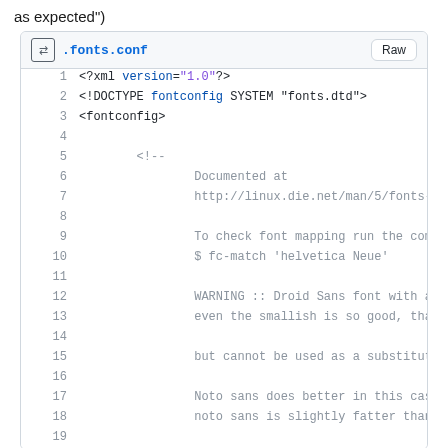as expected")
[Figure (screenshot): A code viewer showing a .fonts.conf XML file with line numbers 1-19. Lines show XML declarations, DOCTYPE, fontconfig tag, and comment lines about font documentation, fc-match command, WARNING about Droid Sans font, and Noto sans.]